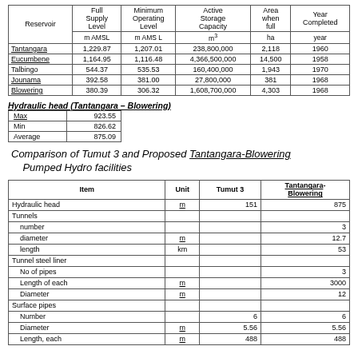| Reservoir | Full Supply Level | Minimum Operating Level | Active Storage Capacity | Area when full | Year Completed |
| --- | --- | --- | --- | --- | --- |
|  | m AMSL | m AMSL | m³ | ha | year |
| Tantangara | 1,229.87 | 1,207.01 | 238,800,000 | 2,118 | 1960 |
| Eucumbene | 1,164.95 | 1,116.48 | 4,366,500,000 | 14,500 | 1958 |
| Talbingo | 544.37 | 535.53 | 160,400,000 | 1,943 | 1970 |
| Jounama | 392.58 | 381.00 | 27,800,000 | 381 | 1968 |
| Blowering | 380.39 | 306.32 | 1,608,700,000 | 4,303 | 1968 |
Hydraulic head (Tantangara – Blowering)
|  |  |
| --- | --- |
| Max | 923.55 |
| Min | 826.62 |
| Average | 875.09 |
Comparison of Tumut 3 and Proposed Tantangara-Blowering Pumped Hydro facilities
| Item | Unit | Tumut 3 | Tantangara-Blowering |
| --- | --- | --- | --- |
| Hydraulic head | m | 151 | 875 |
| Tunnels |  |  |  |
| number |  |  | 3 |
| diameter | m |  | 12.7 |
| length | km |  | 53 |
| Tunnel steel liner |  |  |  |
| No of pipes |  |  | 3 |
| Length of each | m |  | 3000 |
| Diameter | m |  | 12 |
| Surface pipes |  |  |  |
| Number |  | 6 | 6 |
| Diameter | m | 5.56 | 5.56 |
| Length, each | m | 488 | 488 |